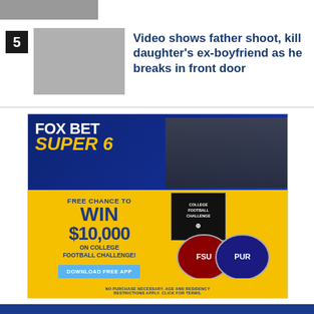[Figure (photo): Partial top image strip, blurred/cropped photo]
5 Video shows father shoot, kill daughter's ex-boyfriend as he breaks in front door
[Figure (advertisement): FOX BET SUPER 6 advertisement. Free chance to win $10,000 on College Football Challenge! Download free app. No purchase necessary. Age and residency restrictions apply. Click for terms.]